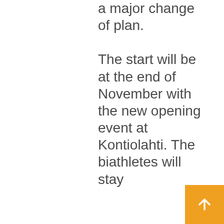a major change of plan. The start will be at the end of November with the new opening event at Kontiolahti. The biathletes will stay
[Figure (other): Orange square button with white upward arrow icon]